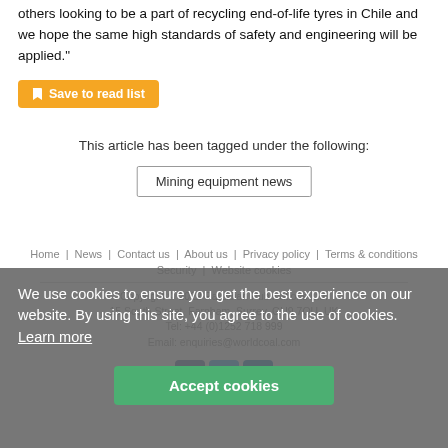others looking to be a part of recycling end-of-life tyres in Chile and we hope the same high standards of safety and engineering will be applied."
Save to read list
This article has been tagged under the following:
Mining equipment news
Home  News  Contact us  About us  Privacy policy  Terms & conditions  Security  Website cookies
Copyright © 2022 Palladian Publications Ltd.
Tel: +44 (0)1252 718 999
Email: enquiries@worldcoal.com
We use cookies to ensure you get the best experience on our website. By using this site, you agree to the use of cookies. Learn more
Accept cookies